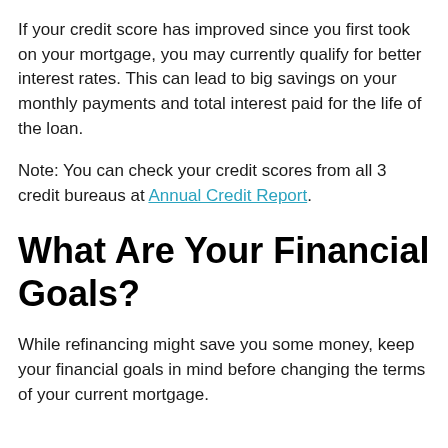If your credit score has improved since you first took on your mortgage, you may currently qualify for better interest rates. This can lead to big savings on your monthly payments and total interest paid for the life of the loan.
Note: You can check your credit scores from all 3 credit bureaus at Annual Credit Report.
What Are Your Financial Goals?
While refinancing might save you some money, keep your financial goals in mind before changing the terms of your current mortgage.